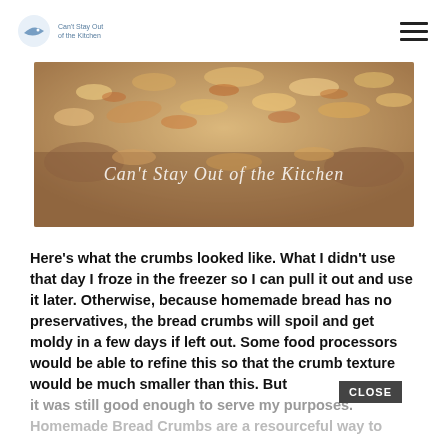Can't Stay Out of the Kitchen
[Figure (photo): Close-up photo of homemade bread crumbs on a baking dish, with text overlay reading 'Can't Stay Out of the Kitchen']
Here's what the crumbs looked like. What I didn't use that day I froze in the freezer so I can pull it out and use it later. Otherwise, because homemade bread has no preservatives, the bread crumbs will spoil and get moldy in a few days if left out. Some food processors would be able to refine this so that the crumb texture would be much smaller than this. But it was still good enough to serve my purposes.
Homemade Bread Crumbs are a resourceful way to